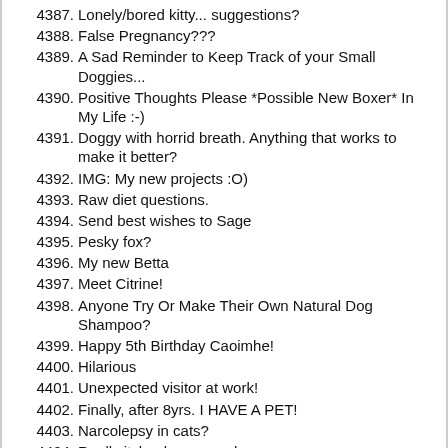4387. Lonely/bored kitty... suggestions?
4388. False Pregnancy???
4389. A Sad Reminder to Keep Track of your Small Doggies...
4390. Positive Thoughts Please *Possible New Boxer* In My Life :-)
4391. Doggy with horrid breath. Anything that works to make it better?
4392. IMG: My new projects :O)
4393. Raw diet questions.
4394. Send best wishes to Sage
4395. Pesky fox?
4396. My new Betta
4397. Meet Citrine!
4398. Anyone Try Or Make Their Own Natural Dog Shampoo?
4399. Happy 5th Birthday Caoimhe!
4400. Hilarious
4401. Unexpected visitor at work!
4402. Finally, after 8yrs. I HAVE A PET!
4403. Narcolepsy in cats?
4404. Really itchy dog conundrum
4405. Fleas!
4406. The Nose Boop Thread
4407. Ava's new sheep
4408. Name the kitten
4409. New family member!
4410. IMG: Two cool critters!
4411. You've seen Grumpy Cat, Could this be his friend Grumpy Dog?
4412. Girl. What look?